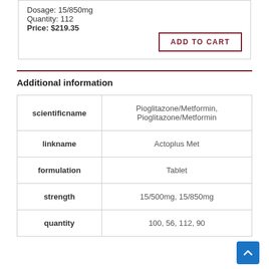Dosage: 15/850mg
Quantity: 112
Price: $219.35
ADD TO CART
Additional information
|  |  |
| --- | --- |
| scientificname | Pioglitazone/Metformin, Pioglitazone/Metformin |
| linkname | Actoplus Met |
| formulation | Tablet |
| strength | 15/500mg, 15/850mg |
| quantity | 100, 56, 112, 90 |